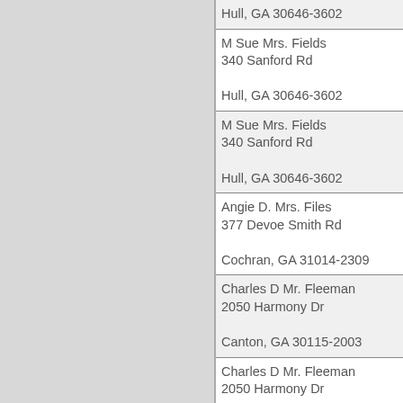| Hull, GA 30646-3602 |
| M Sue Mrs. Fields
340 Sanford Rd

Hull, GA 30646-3602 |
| M Sue Mrs. Fields
340 Sanford Rd

Hull, GA 30646-3602 |
| Angie D. Mrs. Files
377 Devoe Smith Rd

Cochran, GA 31014-2309 |
| Charles D Mr. Fleeman
2050 Harmony Dr

Canton, GA 30115-2003 |
| Charles D Mr. Fleeman
2050 Harmony Dr

Canton, GA 30115-2003 |
| Charles D Mr. Fleeman
2050 Harmony Dr

Canton, GA 30115-2003 |
| Charles D Mr. Fleeman
2050 Harmony Dr

Canton, GA 30115-2003 |